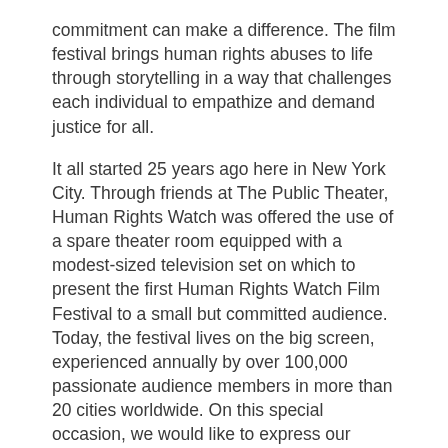commitment can make a difference. The film festival brings human rights abuses to life through storytelling in a way that challenges each individual to empathize and demand justice for all.
It all started 25 years ago here in New York City. Through friends at The Public Theater, Human Rights Watch was offered the use of a spare theater room equipped with a modest-sized television set on which to present the first Human Rights Watch Film Festival to a small but committed audience. Today, the festival lives on the big screen, experienced annually by over 100,000 passionate audience members in more than 20 cities worldwide. On this special occasion, we would like to express our heartfelt thanks to you, our audience, whose enthusiasm and support have made the Human Rights Watch Film Festival what it is today. All films are New York Premieres unless otherwise noted.